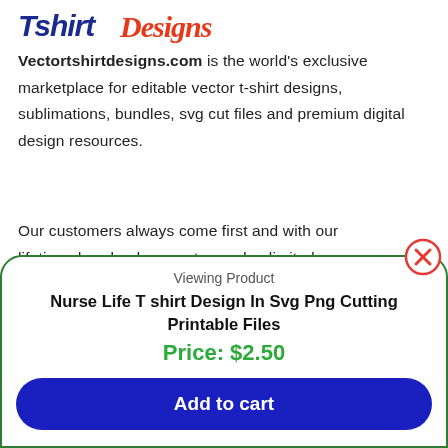[Figure (logo): Tshirt Designs logo with 'Tshirt' in bold dark blue italic and 'Designs' in bold red/orange italic script]
Vectortshirtdesigns.com is the world's exclusive marketplace for editable vector t-shirt designs, sublimations, bundles, svg cut files and premium digital design resources.
Our customers always come first and with our lifetime download guarantee and unlimited support, we are sure you will love shopping with us.
Viewing Product
Nurse Life T shirt Design In Svg Png Cutting Printable Files
Price: $2.50
Add to cart